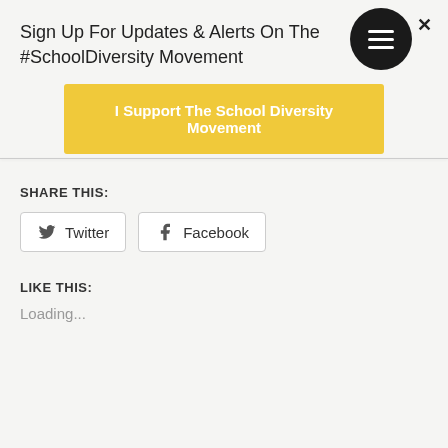Sign Up For Updates & Alerts On The #SchoolDiversity Movement
I Support The School Diversity Movement
SHARE THIS:
Twitter  Facebook
LIKE THIS:
Loading...